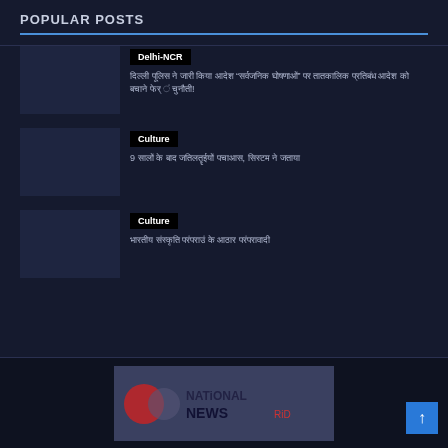POPULAR POSTS
Delhi-NCR — Hindi text post about national events
Culture — 9 Hindi text post about cultural topics
Culture — Hindi text post about cultural traditions
[Figure (logo): National News logo at bottom of page]